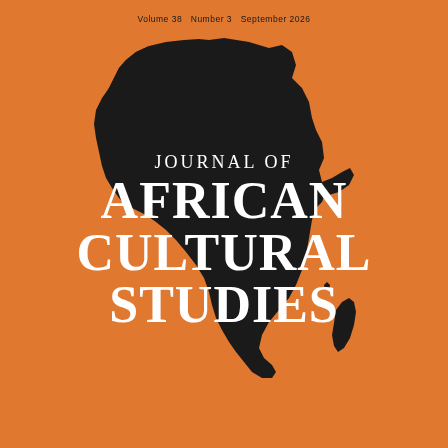Volume 38   Number 3   September 2026
[Figure (illustration): Silhouette of the African continent in black on an orange background, with Madagascar visible to the lower right]
Journal of African Cultural Studies